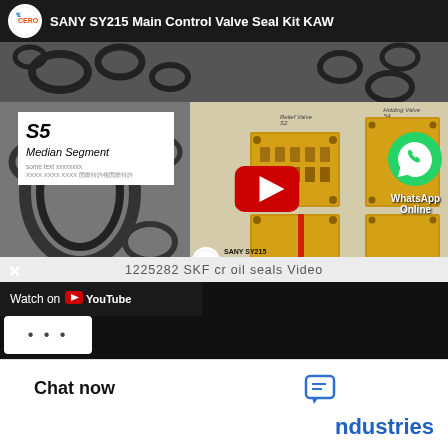[Figure (screenshot): YouTube video thumbnail showing SANY SY215 Main Control Valve Seal Kit KAWASAKI KMX15RB. Shows rubber O-rings/seals on left side with S5 Median Segment label, valve assembly diagram in center-right, YouTube play button overlay, WhatsApp Online chat icon, CERO logo, and video title bar at top.]
1225282 SKF cr oil seals Video
Chat now
ndustries